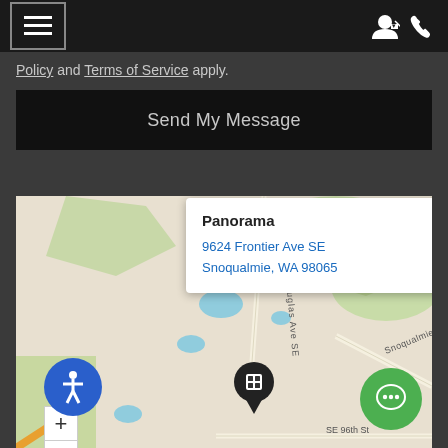Navigation bar with hamburger menu, user icon, and phone icon
Policy and Terms of Service apply.
Send My Message
[Figure (map): Interactive map showing Snoqualmie area with neighborhoods CRESTVIEW, EAGLE LAKE, EAGLE NEST, roads including Snoqualmie Pkwy, Douglas Ave SE, SE 96th St. A popup shows: Panorama, 9624 Frontier Ave SE, Snoqualmie, WA 98065. Map has zoom in/out controls, a location pin, accessibility button, and chat button.]